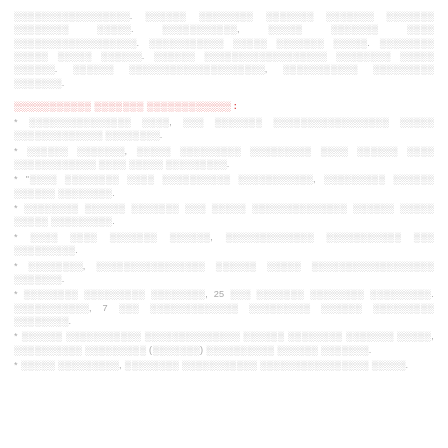░░░░░░░░░░░░░░░░░. ░░░░░░ ░░░░░░░░ ░░░░░░░ ░░░░░░░ ░░░░░░░ ░░░░░░░░ ░░░░░. ░░░░░░░░░░░, ░░░░░ ░░░░░░░ ░░░░ ░░░░░░░░░░░░░░░░░░. ░░░░░░░░░░░ ░░░░░ ░░░░░░░ ░░░░░. ░░░░░░░░ ░░░░░ ░░░░░ ░░░░░░. ░░░░░░ ░░░░░░░░░░░░░░░░░░ ░░░░░░ ░░░░░░░░ ░░░░░░. ░░░░░░ ░░░░░░░░░░░░░░░░░░░░, ░░░░░░░░░░░ ░░░░░░░░░ ░░░░░░░.
░░░░░░░░░░░ ░░░░░░░ ░░░░░░░░░░░░ :
* ░░░░░░░░░░░░░░░ ░░░░, ░░░ ░░░░░░░ ░░░░░░░░░░░░░░░░░ ░░░░░ ░░░░░░░░░░░░░ ░░░░░░░░.
* ░░░░░░ ░░░░░░░, ░░░░░ ░░░░░░░░░ ░░░░░░░░░ ░░░░ ░░░░░░ ░░░░ ░░░░░░░░░░░░ ░░░░ ░░░░░ ░░░░░░░░░.
* "░░░░ ░░░░░░░░ ░░░░ ░░░░░░░░░░ ░░░░░░░░░░░, ░░░░░░░░░ ░░░░░░ ░░░░░░ ░░░░░░░░.
* ░░░░░░░░ ░░░░░░ ░░░░░░░ ░░░ ░░░░░ ░░░░░░░░░░░░░░ ░░░░░░ ░░░░░ ░░░░░ ░░░░░░░░░.
* ░░░░ ░░░░ ░░░░░░░ ░░░░░░, ░░░░░░░░░░░░░ ░░░░░░░░░░░ ░░░ ░░░░░░░░░.
* ░░░░░░░░, ░░░░░░░░░░░░░░░░ ░░░░░░ ░░░░░ ░░░░░░░░░░░░░░░░░░ ░░░░░░░.
* ░░░░░░░░ ░░░░░░░░░ ░░░░░░░░, 25 ░░░ ░░░░░░░ ░░░░░░░░ ░░░░░░░░░. ░░░░░░░░░░░, 7 ░░░ ░░░░░░░░░░░░░ ░░░░░░░░░ ░░░░░░ ░░░░░░░░░ ░░░░░░░░.
* ░░░░░░ ░░░░░░░░░░░ ░░░░░░░░░░░░░░ ░░░░░░ ░░░░░░░░ ░░░░░░░ ░░░░░, ░░░░░░░░░ ░░░░░░░░░ (░░░░░░░) ░░░░░░░░░░ ░░░░░░ ░░░░░░░.
* ░░░░░ ░░░░░░░░░, ░░░░░░░░ ░░░░░░░░░░░ ░░░░░░░░░░░░░░░░ ░░░░░.